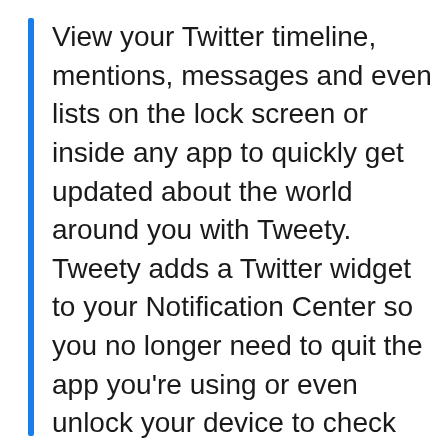View your Twitter timeline, mentions, messages and even lists on the lock screen or inside any app to quickly get updated about the world around you with Tweety. Tweety adds a Twitter widget to your Notification Center so you no longer need to quit the app you're using or even unlock your device to check your Twitter feed. You can even favorite, re-tweet or open the tweet in the default Twitter app/Tweetbot/Twitterrific right from the widget! With Tweety you can see recent news, facts, quotes, mentions and everything on Twitter